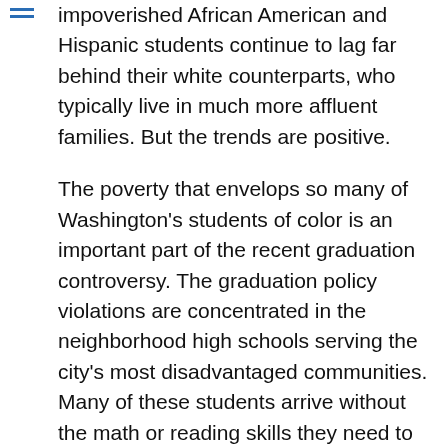impoverished African American and Hispanic students continue to lag far behind their white counterparts, who typically live in much more affluent families. But the trends are positive.
The poverty that envelops so many of Washington's students of color is an important part of the recent graduation controversy. The graduation policy violations are concentrated in the neighborhood high schools serving the city's most disadvantaged communities. Many of these students arrive without the math or reading skills they need to complete high-school level work. Those with the most ability and agency often leave for other schools.
Take Ballou High School, ground zero for the diploma controversy. Nearly half the high school students in the city's Ward 8, which Ballou serves, attend charter schools. Another 10 percent are in the city's selective